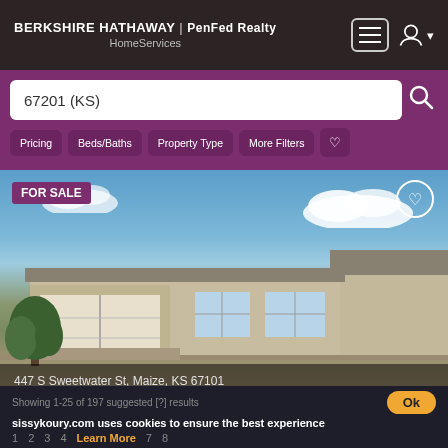BERKSHIRE HATHAWAY | PenFed Realty HomeServices
67201 (KS)
Pricing
Beds/Baths
Property Type
More Filters
[Figure (photo): Exterior photo of a single-story house for sale at 447 S Sweetwater St, Maize, KS 67101, under blue sky with clouds]
447 S Sweetwater St, Maize, KS 67101
$312,000 3 bd, 2 ba, 1400 sqft
New Door Real Estate
Showing 1-25 of 197 suggested [?] results
sissykoury.com uses cookies to ensure the best experience
Learn More
1  2  3  4  Learn More  7  8